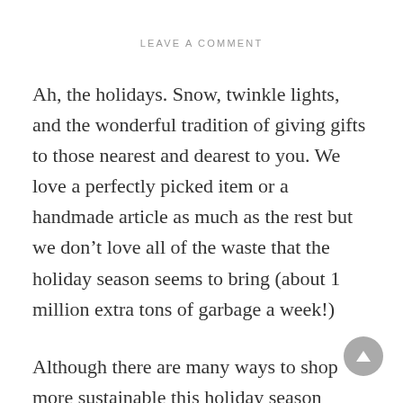LEAVE A COMMENT
Ah, the holidays. Snow, twinkle lights, and the wonderful tradition of giving gifts to those nearest and dearest to you. We love a perfectly picked item or a handmade article as much as the rest but we don’t love all of the waste that the holiday season seems to bring (about 1 million extra tons of garbage a week!)
Although there are many ways to shop more sustainable this holiday season (think gifting